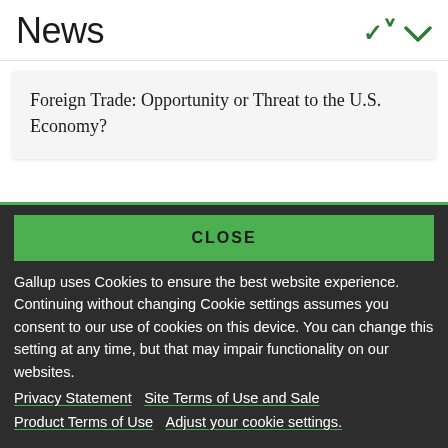News
Foreign Trade: Opportunity or Threat to the U.S. Economy?
CLOSE
Gallup uses Cookies to ensure the best website experience. Continuing without changing Cookie settings assumes you consent to our use of cookies on this device. You can change this setting at any time, but that may impair functionality on our websites.
Privacy Statement   Site Terms of Use and Sale
Product Terms of Use   Adjust your cookie settings.